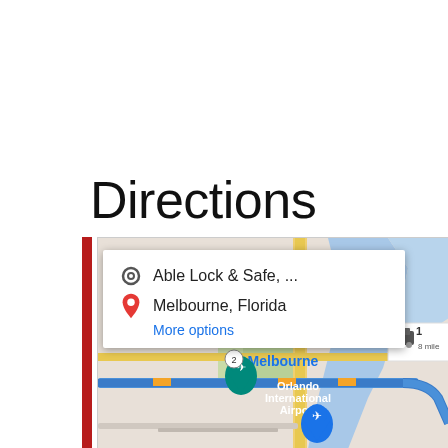Directions
[Figure (screenshot): Google Maps screenshot showing directions from Able Lock & Safe to Melbourne, Florida, with a map view of Melbourne area near Orlando International Airport. Shows a popup card with origin 'Able Lock & Safe, ...' and destination 'Melbourne, Florida' with a 'More options' link. A distance badge shows '8 miles'. The map shows roads, waterways (Indian River), green areas, and a blue route line.]